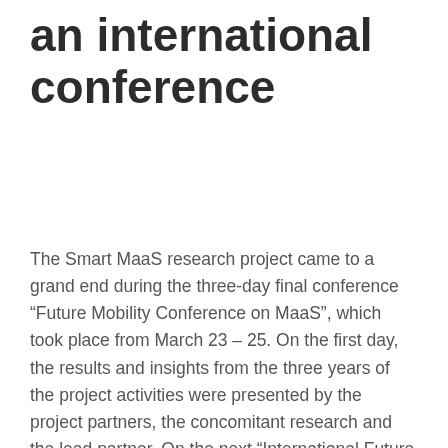an international conference
The Smart MaaS research project came to a grand end during the three-day final conference “Future Mobility Conference on MaaS”, which took place from March 23 – 25. On the first day, the results and insights from the three years of the project activities were presented by the project partners, the concomitant research and the lead partner. On the next “International Future Mobility Day” the participants received valuable contributions from leading mobility experts, around the topic “Mobility-as-a-Service”. The “FIWARE Mobility Day” concluded the conference and gave cities and mobility providers the opportunity to work together to find solutions to